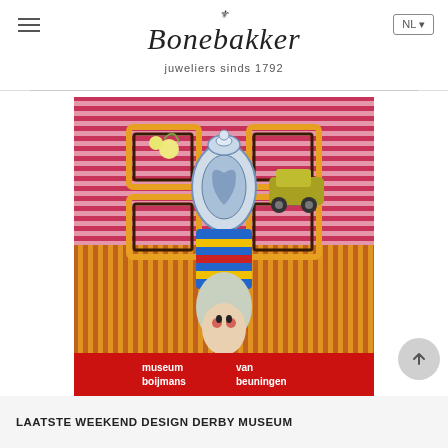Bonebakker — juweliers sinds 1792
[Figure (illustration): Colorful collage artwork poster for Museum Boijmans Van Beuningen featuring a surreal figure with a Delft blue vase head, wearing a striped clown/jester outfit, surrounded by various objects on a bold striped geometric background in red, orange, yellow, and pink tones. Red banner at bottom reads: museum boijmans van beuningen.]
LAATSTE WEEKEND DESIGN DERBY MUSEUM